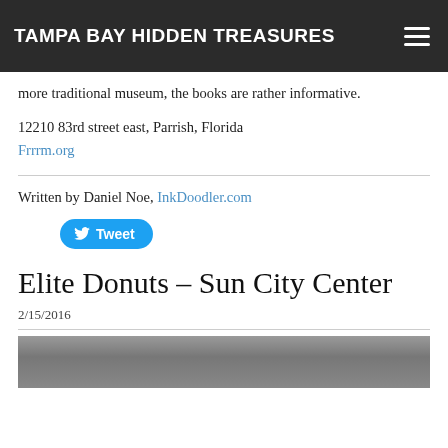TAMPA BAY HIDDEN TREASURES
more traditional museum, the books are rather informative.
12210 83rd street east, Parrish, Florida
Frrrm.org
Written by Daniel Noe, InkDoodler.com
[Figure (other): Tweet button]
Elite Donuts - Sun City Center
2/15/2016
[Figure (photo): Outdoor photo showing trees with Spanish moss]